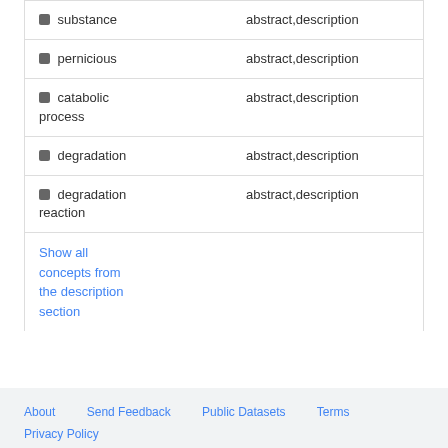| concept | source |
| --- | --- |
| substance | abstract,description |
| pernicious | abstract,description |
| catabolic process | abstract,description |
| degradation | abstract,description |
| degradation reaction | abstract,description |
Show all concepts from the description section
About  Send Feedback  Public Datasets  Terms  Privacy Policy